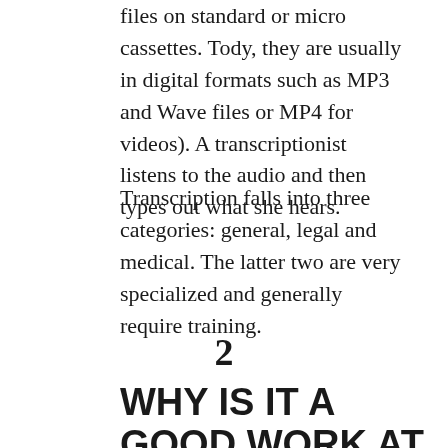files on standard or micro cassettes. Tody, they are usually in digital formats such as MP3 and Wave files or MP4 for videos). A transcriptionist listens to the audio and then types out what she hears.
Transcription falls into three categories: general, legal and medical. The latter two are very specialized and generally require training.
2
WHY IS IT A GOOD WORK AT HOME CHOICE?